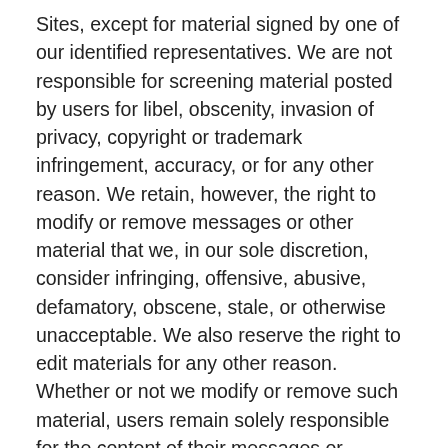Sites, except for material signed by one of our identified representatives. We are not responsible for screening material posted by users for libel, obscenity, invasion of privacy, copyright or trademark infringement, accuracy, or for any other reason. We retain, however, the right to modify or remove messages or other material that we, in our sole discretion, consider infringing, offensive, abusive, defamatory, obscene, stale, or otherwise unacceptable. We also reserve the right to edit materials for any other reason. Whether or not we modify or remove such material, users remain solely responsible for the content of their messages or postings. By posting on the Sites, you grant (or warrant that the owner of such rights has expressly granted) us and/or relevant affiliated companies the worldwide, perpetual, nonexclusive right to use your questions, comments, and postings, in their original or edited form, in television programs, books, articles, commentaries, or in any other medium now known or later developed. You also warrant that you own or otherwise control all of the rights to the content you have posted and